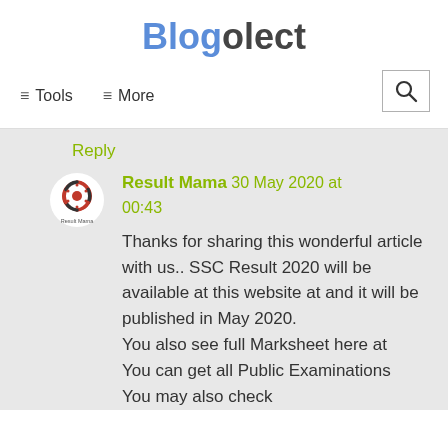Blogolect
≡ Tools   ≡ More
Reply
Result Mama  30 May 2020 at 00:43
[Figure (logo): Result Mama circular logo with red film reel design and text 'Result Mama']
Thanks for sharing this wonderful article with us.. SSC Result 2020 will be available at this website at and it will be published in May 2020.
You also see full Marksheet here at
You can get all Public Examinations
You may also check